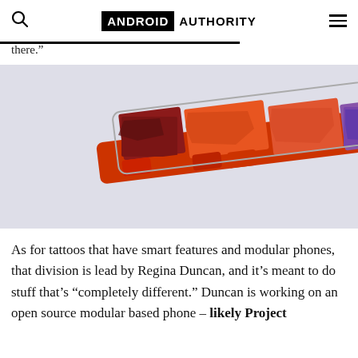ANDROID AUTHORITY
there.”
[Figure (photo): A modular smartphone (Project Ara concept) viewed from the side/top, showing colorful red, orange, purple, and dark patterned swappable modules fitted into a metal frame, on a light gray background.]
As for tattoos that have smart features and modular phones, that division is lead by Regina Duncan, and it’s meant to do stuff that’s “completely different.” Duncan is working on an open source modular based phone – likely Project